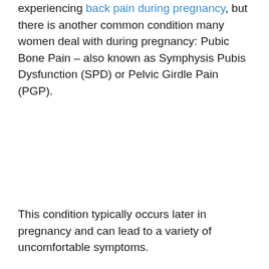experiencing back pain during pregnancy, but there is another common condition many women deal with during pregnancy: Pubic Bone Pain – also known as Symphysis Pubis Dysfunction (SPD) or Pelvic Girdle Pain (PGP).
This condition typically occurs later in pregnancy and can lead to a variety of uncomfortable symptoms.